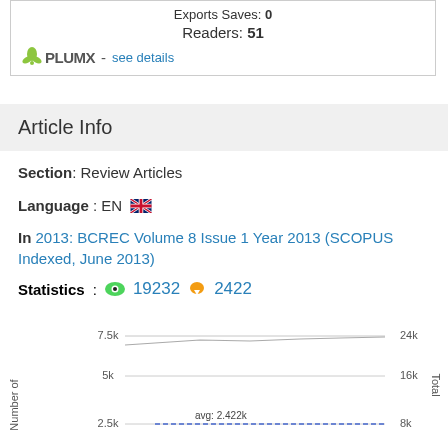Exports Saves: 0
Readers: 51
PLUMX - see details
Article Info
Section: Review Articles
Language : EN
In 2013: BCREC Volume 8 Issue 1 Year 2013 (SCOPUS Indexed, June 2013)
Statistics: 19232  2422
[Figure (line-chart): Line chart showing views over time with avg: 2.422k dashed line. Left y-axis shows 2.5k and 5k. Right y-axis shows 8k, 16k, 24k. Top labels: 7.5k and 24k.]